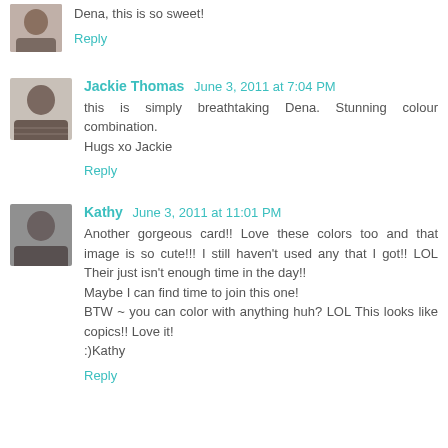Dena, this is so sweet!
Reply
Jackie Thomas  June 3, 2011 at 7:04 PM
this is simply breathtaking Dena. Stunning colour combination.
Hugs xo Jackie
Reply
Kathy  June 3, 2011 at 11:01 PM
Another gorgeous card!! Love these colors too and that image is so cute!!! I still haven't used any that I got!! LOL Their just isn't enough time in the day!!
Maybe I can find time to join this one!
BTW ~ you can color with anything huh? LOL This looks like copics!! Love it!
:)Kathy
Reply